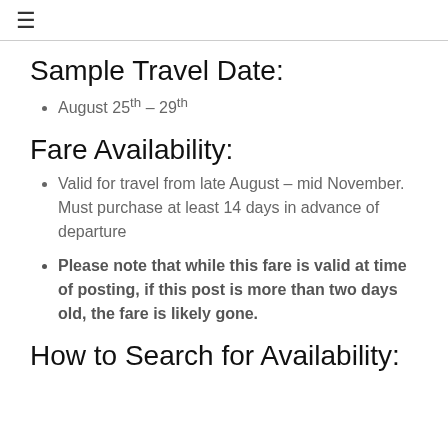≡
Sample Travel Date:
August 25th – 29th
Fare Availability:
Valid for travel from late August – mid November. Must purchase at least 14 days in advance of departure
Please note that while this fare is valid at time of posting, if this post is more than two days old, the fare is likely gone.
How to Search for Availability: